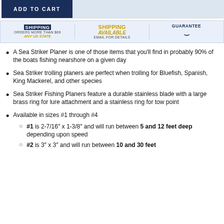[Figure (infographic): ADD TO CART button and shipping/guarantee banner showing: FREE SHIPPING ORDERS MORE THAN $69 ANY US STATE | SHIPPING AVAILABLE EMAIL FOR DETAILS | GUARANTEE with smile logo]
A Sea Striker Planer is one of those items that you'll find in probably 90% of the boats fishing nearshore on a given day
Sea Striker trolling planers are perfect when trolling for Bluefish, Spanish, King Mackerel, and other species
Sea Striker Fishing Planers feature a durable stainless blade with a large brass ring for lure attachment and a stainless ring for tow point
Available in sizes #1 through #4
#1 is 2-7/16" x 1-3/8" and will run between 5 and 12 feet deep depending upon speed
#2 is 3" x 3" and will run between 10 and 30 feet